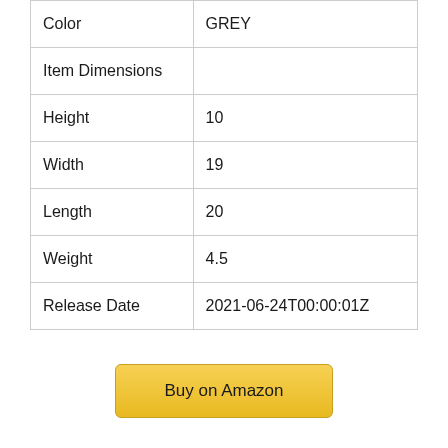| Color | GREY |
| Item Dimensions |  |
| Height | 10 |
| Width | 19 |
| Length | 20 |
| Weight | 4.5 |
| Release Date | 2021-06-24T00:00:01Z |
Buy on Amazon